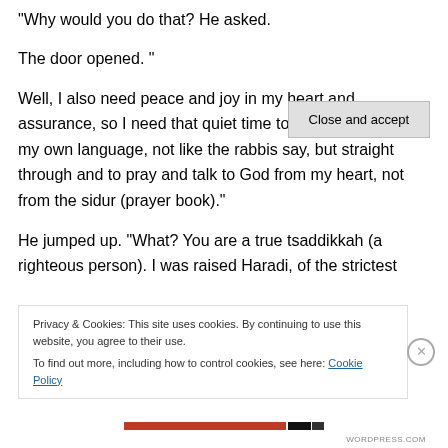"Why would you do that?  He asked.
The door opened.  "
Well, I also need peace and joy in my heart and assurance, so I need that quiet time to read my Bible in my own language, not like the rabbis say, but straight through and to pray and talk to God from my heart, not from the sidur (prayer book)."
He jumped up.  “What?  You are a true tsaddikkah (a righteous person).  I was raised Haradi, of the strictest order in Mea Shearim, from it something has risen above…"
Privacy & Cookies: This site uses cookies. By continuing to use this website, you agree to their use.
To find out more, including how to control cookies, see here: Cookie Policy
Close and accept